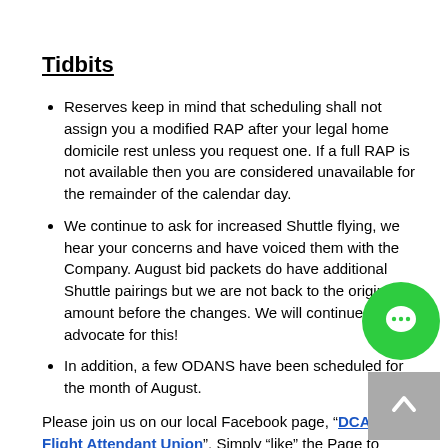Tidbits
Reserves keep in mind that scheduling shall not assign you a modified RAP after your legal home domicile rest unless you request one. If a full RAP is not available then you are considered unavailable for the remainder of the calendar day.
We continue to ask for increased Shuttle flying, we hear your concerns and have voiced them with the Company. August bid packets do have additional Shuttle pairings but we are not back to the original amount before the changes. We will continue to advocate for this!
In addition, a few ODANS have been scheduled for the month of August.
Please join us on our local Facebook page, “DCA-U Flight Attendant Union”. Simply “like” the Page to receive current information and updates from your Local Union.